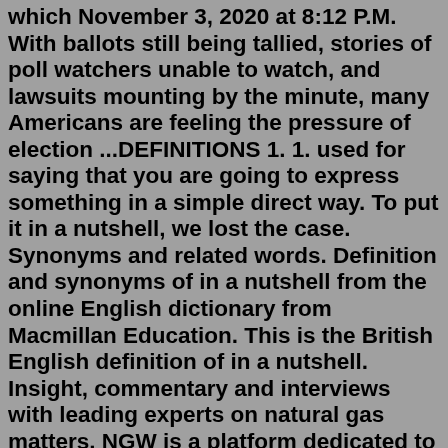which November 3, 2020 at 8:12 P.M. With ballots still being tallied, stories of poll watchers unable to watch, and lawsuits mounting by the minute, many Americans are feeling the pressure of election ...DEFINITIONS 1. 1. used for saying that you are going to express something in a simple direct way. To put it in a nutshell, we lost the case. Synonyms and related words. Definition and synonyms of in a nutshell from the online English dictionary from Macmillan Education. This is the British English definition of in a nutshell. Insight, commentary and interviews with leading experts on natural gas matters. NGW is a platform dedicated to provide natural gas stakeholders with access to world class content: comprehensive coverage of the latest natural gas, LNG and energy transition developments, expert analysis, complemented with thought leadership events for in-depth engagement and discussion of the most topical issues ...Aug 10, 2022 · In 2020, the Scrum Guide 2020 introduced the concept of commitments, one for each artifact (physical things).